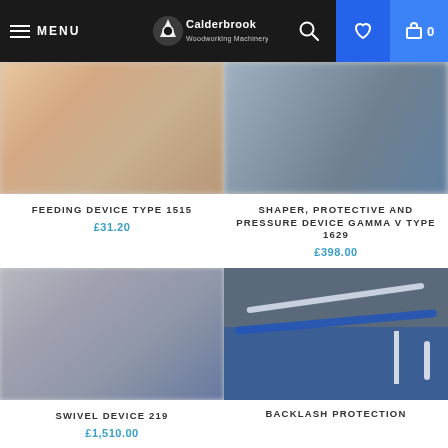Calderbrook Woodworking Machinery Ltd — Menu, Search, Wishlist, Cart
[Figure (photo): Product photo for Feeding Device Type 1515, blurred warm-toned image]
FEEDING DEVICE TYPE 1515
£31.20
[Figure (photo): Product photo for Shaper Protective and Pressure Device Gamma V Type 1629, blurred cool-toned industrial image]
SHAPER, PROTECTIVE AND PRESSURE DEVICE GAMMA V TYPE 1629
£398.00
[Figure (photo): Product photo for Swivel Device 219, blurred grey machinery image]
SWIVEL DEVICE 219
£1,510.00
[Figure (photo): Product photo for Backlash Protection device, showing blue sliding table saw machinery]
BACKLASH PROTECTION